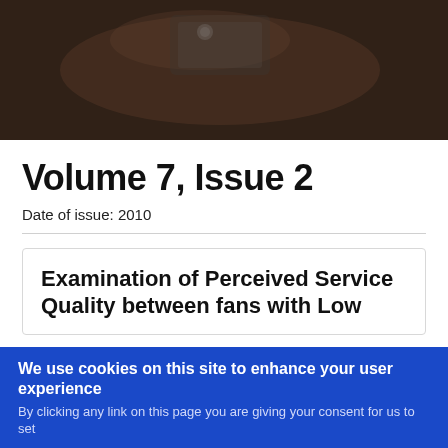[Figure (photo): Darkened photo of a hand holding a phone, used as a banner image at the top of the page]
Volume 7, Issue 2
Date of issue: 2010
Examination of Perceived Service Quality between fans with Low
We use cookies on this site to enhance your user experience
By clicking any link on this page you are giving your consent for us to set